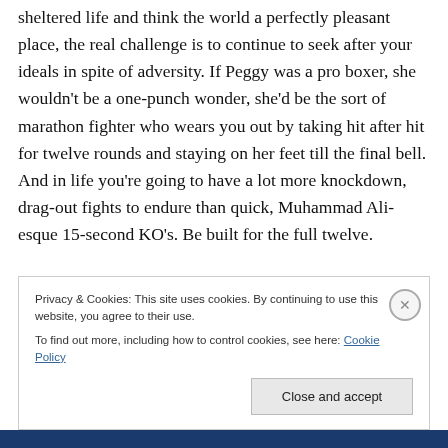sheltered life and think the world a perfectly pleasant place, the real challenge is to continue to seek after your ideals in spite of adversity. If Peggy was a pro boxer, she wouldn't be a one-punch wonder, she'd be the sort of marathon fighter who wears you out by taking hit after hit for twelve rounds and staying on her feet till the final bell. And in life you're going to have a lot more knockdown, drag-out fights to endure than quick, Muhammad Ali-esque 15-second KO's. Be built for the full twelve.
Privacy & Cookies: This site uses cookies. By continuing to use this website, you agree to their use. To find out more, including how to control cookies, see here: Cookie Policy
Close and accept